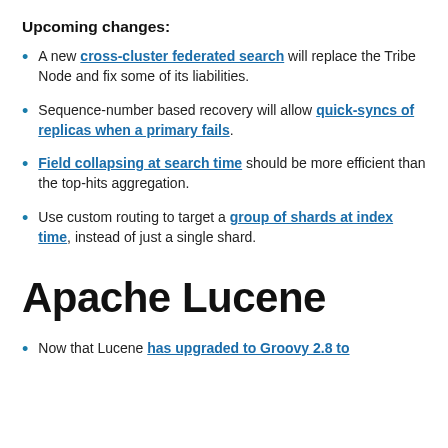Upcoming changes:
A new cross-cluster federated search will replace the Tribe Node and fix some of its liabilities.
Sequence-number based recovery will allow quick-syncs of replicas when a primary fails.
Field collapsing at search time should be more efficient than the top-hits aggregation.
Use custom routing to target a group of shards at index time, instead of just a single shard.
Apache Lucene
Now that Lucene has upgraded to Groovy 2.8 to